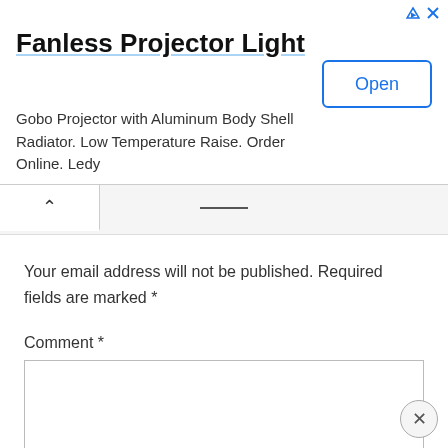[Figure (screenshot): Advertisement banner for Fanless Projector Light. Title reads 'Fanless Projector Light'. Description: 'Gobo Projector with Aluminum Body Shell Radiator. Low Temperature Raise. Order Online. Ledy'. An 'Open' button is shown on the right side. Close and ad-settings icons appear in the top right corner.]
Your email address will not be published. Required fields are marked *
Comment *